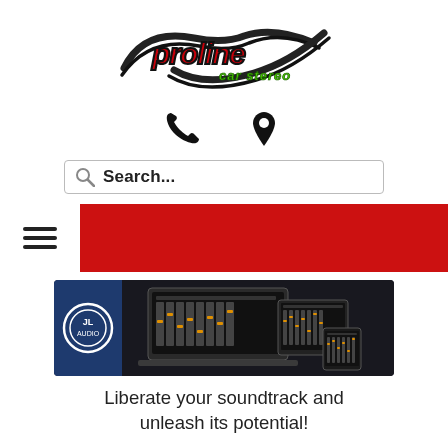[Figure (logo): Proline Car Stereo logo with stylized text in red and green on black swoosh background]
[Figure (infographic): Phone icon and map pin/location icon side by side]
Search...
[Figure (infographic): Navigation bar with hamburger menu icon on white background, rest of bar is red]
[Figure (screenshot): JL Audio banner showing audio software interfaces on laptop, tablet, and phone screens against dark blue and black background]
Liberate your soundtrack and unleash its potential!